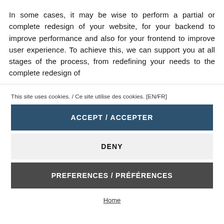In some cases, it may be wise to perform a partial or complete redesign of your website, for your backend to improve performance and also for your frontend to improve user experience. To achieve this, we can support you at all stages of the process, from redefining your needs to the complete redesign of
This site uses cookies. / Ce site utilise des cookies. [EN/FR]
ACCEPT / ACCEPTER
DENY
PREFERENCES / PRÉFÉRENCES
Home